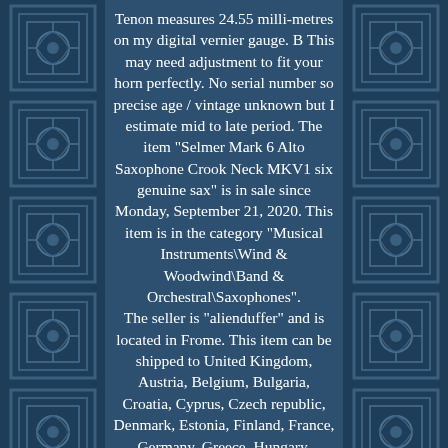Tenon measures 24.55 milli-metres on my digital vernier gauge. B This may need adjustment to fit your horn perfectly. No serial number so precise age / vintage unknown but I estimate mid to late period. The item "Selmer Mark 6 Alto Saxophone Crook Neck MKV1 six genuine sax" is in sale since Monday, September 21, 2020. This item is in the category "Musical Instruments\Wind & Woodwind\Band & Orchestral\Saxophones".
The seller is "alienduffer" and is located in Frome. This item can be shipped to United Kingdom, Austria, Belgium, Bulgaria, Croatia, Cyprus, Czech republic, Denmark, Estonia, Finland, France, Germany, Greece, Hungary, Ireland, Italy, Latvia, Lithuania, Luxembourg, Malta, Netherlands, Poland, Portugal, Romania, Slovakia, Slovenia, Spain, Sweden, Australia, United States, Bahrain, Canada, Japan, New Zealand, China, Israel, Hong Kong,